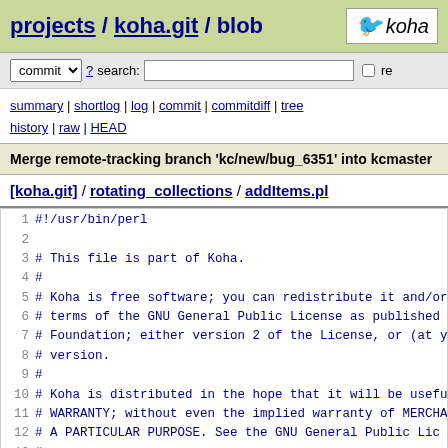projects / koha.git / blob
commit ? search: re
summary | shortlog | log | commit | commitdiff | tree history | raw | HEAD
Merge remote-tracking branch 'kc/new/bug_6351' into kcmaster
[koha.git] / rotating_collections / addItems.pl
1 #!/usr/bin/perl
2
3 # This file is part of Koha.
4 #
5 # Koha is free software; you can redistribute it and/or
6 # terms of the GNU General Public License as published
7 # Foundation; either version 2 of the License, or (at y
8 # version.
9 #
10 # Koha is distributed in the hope that it will be usefu
11 # WARRANTY; without even the implied warranty of MERCHA
12 # A PARTICULAR PURPOSE.  See the GNU General Public Lic
13 #
14 # You should have received a copy of the GNU General Pu
15 # Koha; if not, write to the Free Software Foundation,
16 # Suite 330, Boston, MA  02111-1307 USA
17 #
18